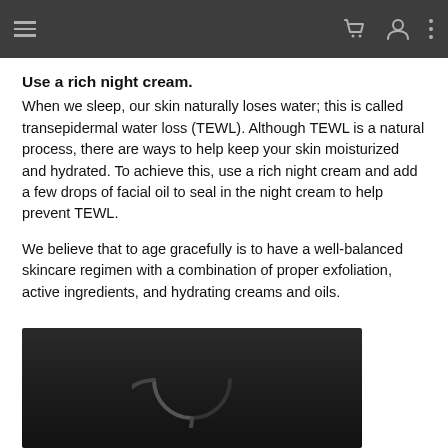Navigation bar with menu, cart, user and more icons
Use a rich night cream.
When we sleep, our skin naturally loses water; this is called transepidermal water loss (TEWL). Although TEWL is a natural process, there are ways to help keep your skin moisturized and hydrated. To achieve this, use a rich night cream and add a few drops of facial oil to seal in the night cream to help prevent TEWL.
We believe that to age gracefully is to have a well-balanced skincare regimen with a combination of proper exfoliation, active ingredients, and hydrating creams and oils.
[Figure (photo): Dark background image, partially visible, showing what appears to be a video player loading spinner arc on a dark background.]